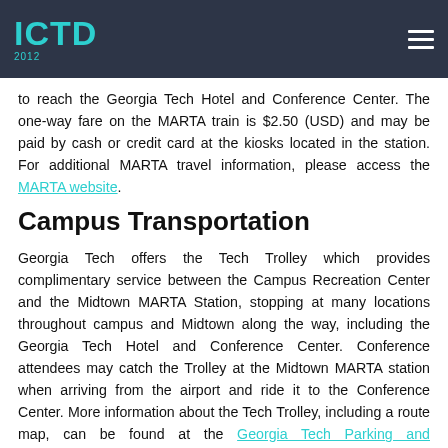ICTD 2012
to reach the Georgia Tech Hotel and Conference Center. The one-way fare on the MARTA train is $2.50 (USD) and may be paid by cash or credit card at the kiosks located in the station. For additional MARTA travel information, please access the MARTA website.
Campus Transportation
Georgia Tech offers the Tech Trolley which provides complimentary service between the Campus Recreation Center and the Midtown MARTA Station, stopping at many locations throughout campus and Midtown along the way, including the Georgia Tech Hotel and Conference Center. Conference attendees may catch the Trolley at the Midtown MARTA station when arriving from the airport and ride it to the Conference Center. More information about the Tech Trolley, including a route map, can be found at the Georgia Tech Parking and Transportation Services website.